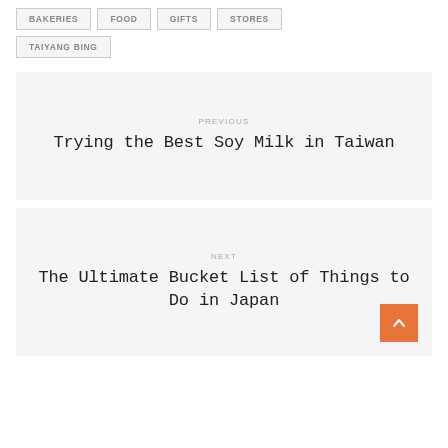BAKERIES
FOOD
GIFTS
STORES
TAIYANG BING
PREVIOUS
Trying the Best Soy Milk in Taiwan
NEXT
The Ultimate Bucket List of Things to Do in Japan